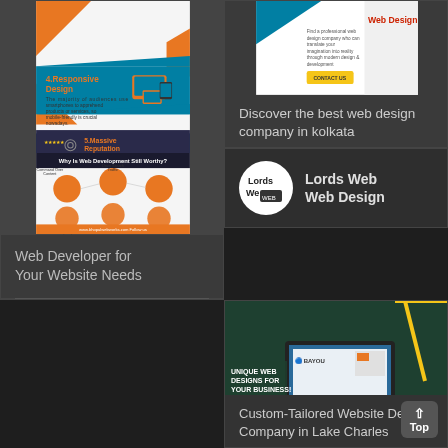[Figure (infographic): Web development infographic showing: item 4 Responsive Design with text about smartphones and mobile-friendly design, item 5 Massive Reputation with text about skilled web developers incorporating beneficial features, and a section 'Why Is Web Development Still Worthy?' with orange circular icons for Command Over Content, Draw Search Traffic, Upkeep Ownership, Make Content Hub, Tweak & Rise. Footer shows 'This Infographic is Presented By Bhopal WebWorks' with website and Follow us links.]
[Figure (infographic): Web Design advertisement showing a professional web design company that can translate imagination into reality through modern design and development. Red text 'Web Design' at top right. Yellow 'CONTACT US' button.]
Discover the best web design company in kolkata
[Figure (logo): Lords Web Web Design logo - circular black and white logo with text]
Lords Web Web Design
Web Developer for Your Website Needs
[Figure (infographic): Bayou Technologies advertisement: 'UNIQUE WEB DESIGNS FOR YOUR BUSINESS!' with laptop/computer graphics on green and dark background. Contact Now button, phone 331-214-872, website bayoutechnologies.com]
Custom-Tailored Website Design Company in Lake Charles